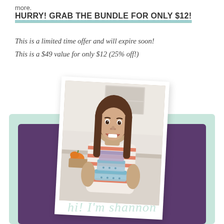more.
HURRY! GRAB THE BUNDLE FOR ONLY $12!
This is a limited time offer and will expire soon! This is a $49 value for only $12 (25% off!)
[Figure (photo): Polaroid-style photo of a smiling woman with long brown hair holding stacked food storage containers, wearing a striped top. The photo sits on a teal-bordered purple card. Below the photo is a handwritten-style signature reading 'hi! I'm shannon'.]
hi! I'm shannon